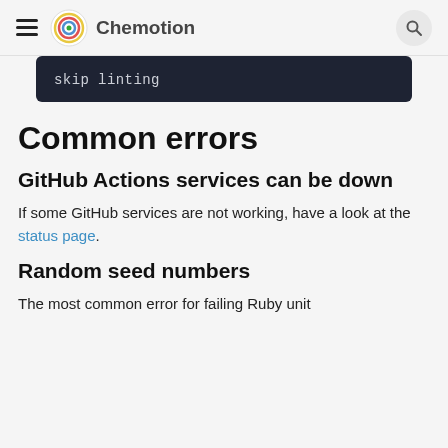Chemotion
skip linting
Common errors
GitHub Actions services can be down
If some GitHub services are not working, have a look at the status page.
Random seed numbers
The most common error for failing Ruby unit